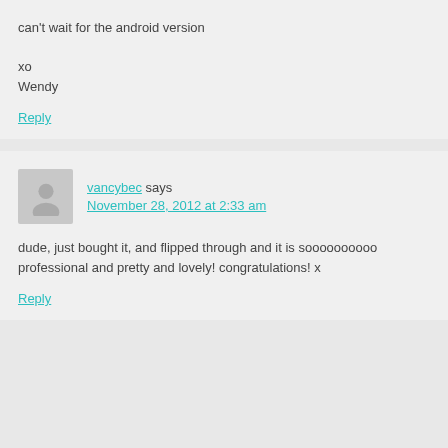can't wait for the android version

xo
Wendy
Reply
vancybec says
November 28, 2012 at 2:33 am
dude, just bought it, and flipped through and it is soooooooooo professional and pretty and lovely! congratulations! x
Reply